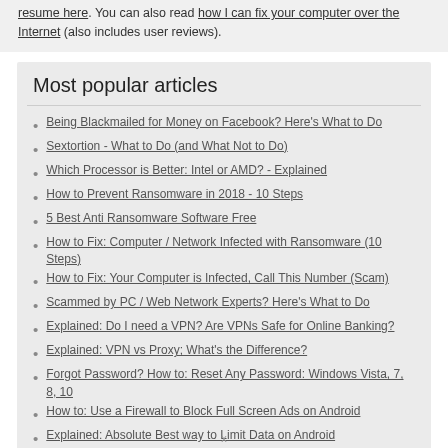resume here. You can also read how I can fix your computer over the Internet (also includes user reviews).
Most popular articles
Being Blackmailed for Money on Facebook? Here's What to Do
Sextortion - What to Do (and What Not to Do)
Which Processor is Better: Intel or AMD? - Explained
How to Prevent Ransomware in 2018 - 10 Steps
5 Best Anti Ransomware Software Free
How to Fix: Computer / Network Infected with Ransomware (10 Steps)
How to Fix: Your Computer is Infected, Call This Number (Scam)
Scammed by PC / Web Network Experts? Here's What to Do
Explained: Do I need a VPN? Are VPNs Safe for Online Banking?
Explained: VPN vs Proxy; What's the Difference?
Forgot Password? How to: Reset Any Password: Windows Vista, 7, 8, 10
How to: Use a Firewall to Block Full Screen Ads on Android
Explained: Absolute Best way to Limit Data on Android
Explained: Difference Between Dark Web, Deep Net, Darknet and More
Explained: If I Reset Windows 10 will it Remove Malware?
x